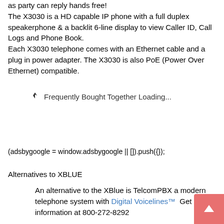as party can reply hands free! The X3030 is a HD capable IP phone with a full duplex speakerphone & a backlit 6-line display to view Caller ID, Call Logs and Phone Book. Each X3030 telephone comes with an Ethernet cable and a plug in power adapter. The X3030 is also PoE (Power Over Ethernet) compatible.
Frequently Bought Together Loading...
(adsbygoogle = window.adsbygoogle || []).push({});
Alternatives to XBLUE
An alternative to the XBlue is TelcomPBX a modern telephone system with Digital Voicelines™  Get more information at 800-272-8292